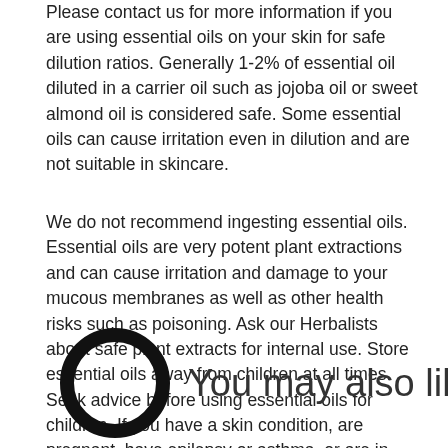Please contact us for more information if you are using essential oils on your skin for safe dilution ratios. Generally 1-2% of essential oil diluted in a carrier oil such as jojoba oil or sweet almond oil is considered safe. Some essential oils can cause irritation even in dilution and are not suitable in skincare.
We do not recommend ingesting essential oils. Essential oils are very potent plant extractions and can cause irritation and damage to your mucous membranes as well as other health risks such as poisoning. Ask our Herbalists about safe plant extracts for internal use. Store essential oils away from children at all times. Seek advice before using essential oils for children. If you have a skin condition, are pregnant, have epilepsy or asthma, or are in any doubt about any condition you may have please contact us or a suitable health practitioner for further guidance.
[Figure (logo): Black circular logo resembling a letter O or chat bubble icon, followed by the text 'You may also like']